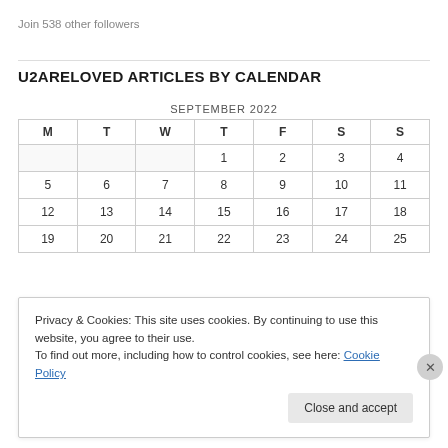Join 538 other followers
U2ARELOVED ARTICLES BY CALENDAR
| M | T | W | T | F | S | S |
| --- | --- | --- | --- | --- | --- | --- |
|  |  |  | 1 | 2 | 3 | 4 |
| 5 | 6 | 7 | 8 | 9 | 10 | 11 |
| 12 | 13 | 14 | 15 | 16 | 17 | 18 |
| 19 | 20 | 21 | 22 | 23 | 24 | 25 |
Privacy & Cookies: This site uses cookies. By continuing to use this website, you agree to their use. To find out more, including how to control cookies, see here: Cookie Policy
Close and accept